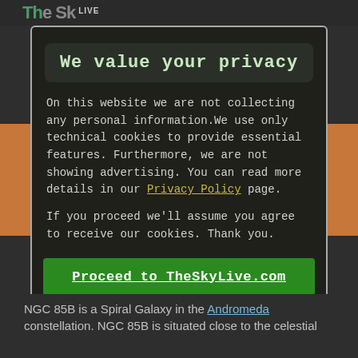We value your privacy
On this website we are not collecting any personal information.We use only technical cookies to provide essential features. Furthermore, we are not showing advertising. You can read more details in our Privacy Policy page.
If you proceed we'll assume you agree to receive our cookies. Thank you.
Proceed to TheSkyLive.com
NGC 85B is a Spiral Galaxy in the Andromeda constellation. NGC 85B is situated close to the celestial